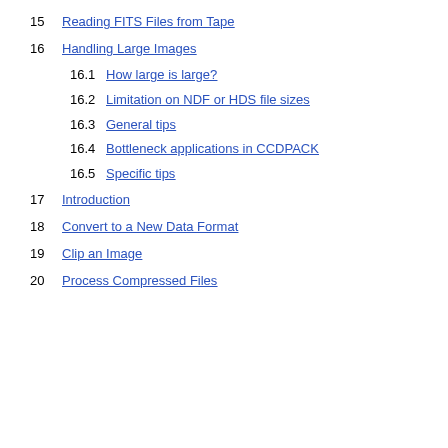15 Reading FITS Files from Tape
16 Handling Large Images
16.1 How large is large?
16.2 Limitation on NDF or HDS file sizes
16.3 General tips
16.4 Bottleneck applications in CCDPACK
16.5 Specific tips
17 Introduction
18 Convert to a New Data Format
19 Clip an Image
20 Process Compressed Files